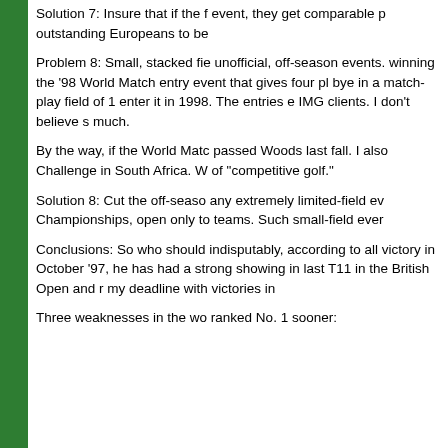Solution 7: Insure that if the f event, they get comparable p outstanding Europeans to be
Problem 8: Small, stacked fie unofficial, off-season events. winning the '98 World Match entry event that gives four pl bye in a match-play field of 1 enter it in 1998. The entries e IMG clients. I don't believe s much.
By the way, if the World Matc passed Woods last fall. I also Challenge in South Africa. W of "competitive golf."
Solution 8: Cut the off-seaso any extremely limited-field ev Championships, open only to teams. Such small-field ever
Conclusions: So who should indisputably, according to all victory in October '97, he has had a strong showing in last T11 in the British Open and r my deadline with victories in
Three weaknesses in the wo ranked No. 1 sooner: